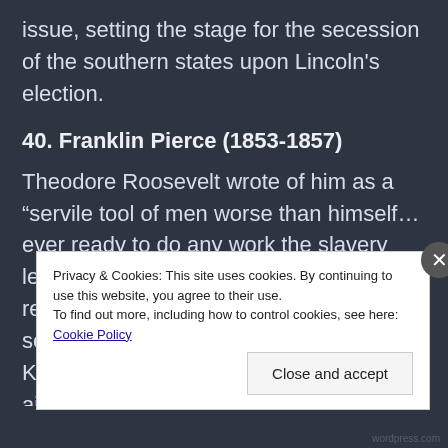issue, setting the stage for the secession of the southern states upon Lincoln's election.
40. Franklin Pierce (1853-1857)
Theodore Roosevelt wrote of him as a “servile tool of men worse than himself… ever ready to do any work the slavery leaders set him”. Pierce is best remembered for failing to secure sectional conciliation, supporting the Kansas-Nebraska Act of 1854, and aiding the downfall of the Democratic Party for decades to come.
Privacy & Cookies: This site uses cookies. By continuing to use this website, you agree to their use.
To find out more, including how to control cookies, see here: Cookie Policy
Close and accept